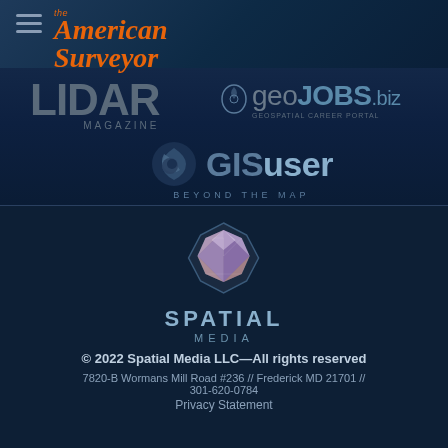[Figure (logo): The American Surveyor logo with hamburger menu icon, orange italic script text]
[Figure (logo): LIDAR Magazine logo in large gray text]
[Figure (logo): geojobs.biz geospatial career portal logo with stylized icon]
[Figure (logo): GISuser Beyond The Map logo with swirl icon]
[Figure (logo): Spatial Media logo with colorful geometric sphere and SPATIAL MEDIA text]
© 2022 Spatial Media LLC—All rights reserved
7820-B Wormans Mill Road #236 // Frederick MD 21701 // 301-620-0784
Privacy Statement